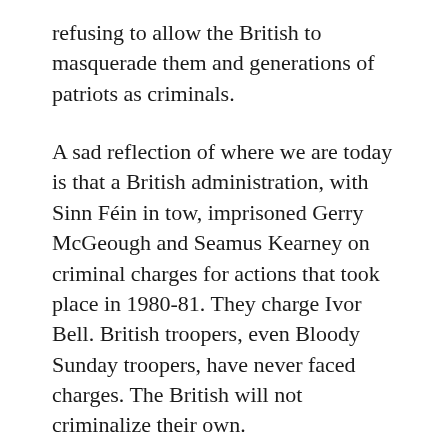refusing to allow the British to masquerade them and generations of patriots as criminals.
A sad reflection of where we are today is that a British administration, with Sinn Féin in tow, imprisoned Gerry McGeough and Seamus Kearney on criminal charges for actions that took place in 1980-81. They charge Ivor Bell. British troopers, even Bloody Sunday troopers, have never faced charges. The British will not criminalize their own.